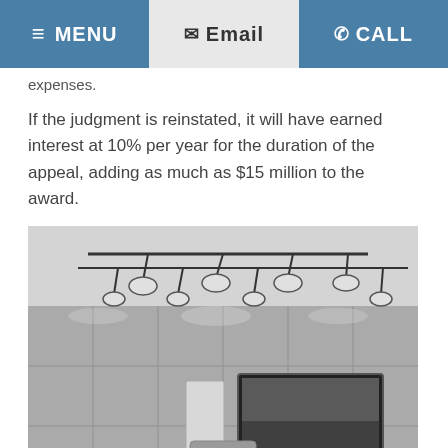MENU  Email  CALL
expenses.
If the judgment is reinstated, it will have earned interest at 10% per year for the duration of the appeal, adding as much as $15 million to the award.
[Figure (photo): Black and white photo of a modern conference room or office lobby with track lighting on the ceiling, paneled walls, a flat-screen TV mounted on the wall, and curved seating furniture in the foreground.]